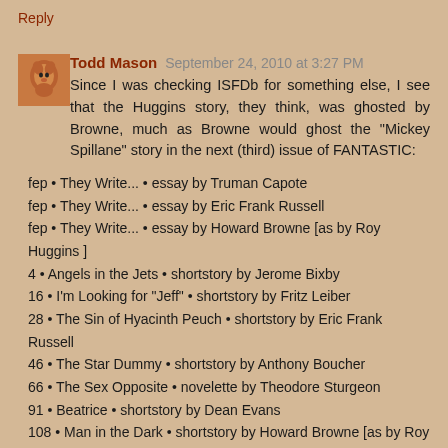Reply
Todd Mason  September 24, 2010 at 3:27 PM
Since I was checking ISFDb for something else, I see that the Huggins story, they think, was ghosted by Browne, much as Browne would ghost the "Mickey Spillane" story in the next (third) issue of FANTASTIC:
fep • They Write... • essay by Truman Capote
fep • They Write... • essay by Eric Frank Russell
fep • They Write... • essay by Howard Browne [as by Roy Huggins ]
4 • Angels in the Jets • shortstory by Jerome Bixby
16 • I'm Looking for "Jeff" • shortstory by Fritz Leiber
28 • The Sin of Hyacinth Peuch • shortstory by Eric Frank Russell
46 • The Star Dummy • shortstory by Anthony Boucher
66 • The Sex Opposite • novelette by Theodore Sturgeon
91 • Beatrice • shortstory by Dean Evans
108 • Man in the Dark • shortstory by Howard Browne [as by Roy Huggins ]